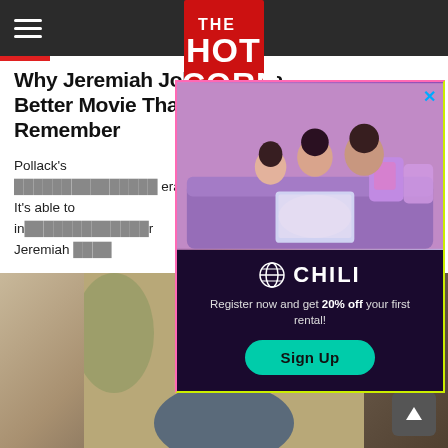THE HOT CORN (navigation bar with logo)
Why Jeremiah Johnson Is a Better Movie Than You Remember
Pollack's ... era. It's able to in... r Jeremiah ...
by A... 25th...
[Figure (photo): Movie still showing a man's face in close-up outdoors with trees in background]
[Figure (infographic): CHILI streaming service advertisement overlay. Shows family on sofa watching laptop, CHILI logo, text: Register now and get 20% off your first rental!, Sign Up button]